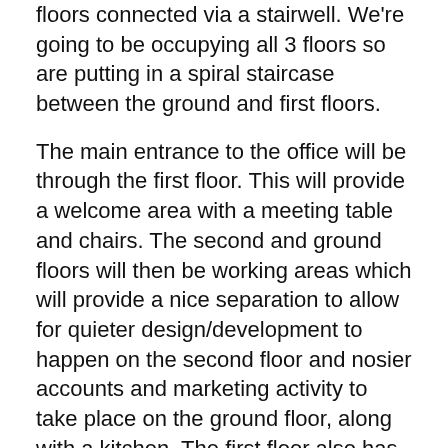floors connected via a stairwell. We're going to be occupying all 3 floors so are putting in a spiral staircase between the ground and first floors.
The main entrance to the office will be through the first floor. This will provide a welcome area with a meeting table and chairs. The second and ground floors will then be working areas which will provide a nice separation to allow for quieter design/development to happen on the second floor and nosier accounts and marketing activity to take place on the ground floor, along with a kitchen. The first floor also has a separated office which can be used ad-hoc.
There are toilets on both the ground and first floors and the first floor is accessible by an outside lift as well as the spiral staircase.